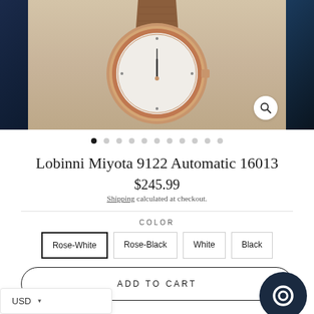[Figure (photo): Product photo of a Lobinni Miyota 9122 Automatic 16013 watch with rose gold case and brown leather strap on a beige/tan background, flanked by dark blue panels on left and right. A magnify icon is visible at bottom right of the image.]
Lobinni Miyota 9122 Automatic 16013
$245.99
Shipping calculated at checkout.
COLOR
Rose-White
Rose-Black
White
Black
ADD TO CART
USD